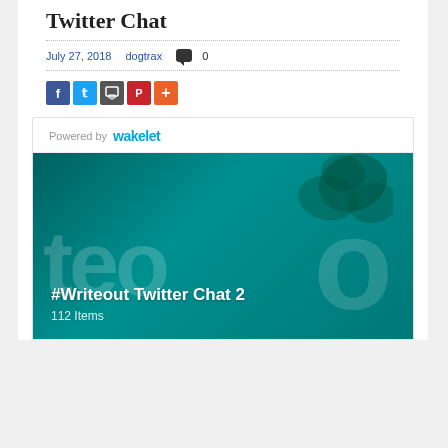Twitter Chat
July 27, 2018   dogtrax   0
[Figure (infographic): Social sharing buttons: Facebook (blue), Twitter (light blue), Print (dark gray), Pinterest (red), More (orange)]
[Figure (screenshot): Wakelet embed showing '#Writeout Twitter Chat 2' collection with 112 Items, teal background with decorative 'teo' letters and plant imagery]
#Writeout Twitter Chat 2 - 112 Items